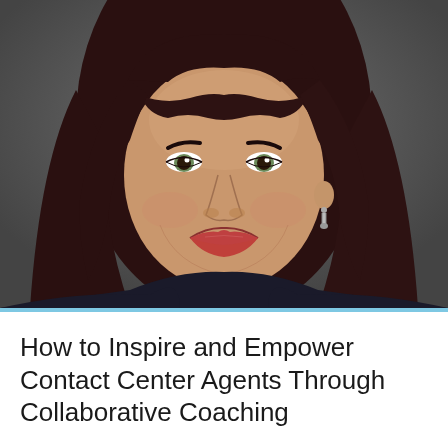[Figure (photo): Professional headshot of a woman with long dark brown hair and bangs, wearing dark clothing, smiling, with drop earrings, against a dark gray background.]
How to Inspire and Empower Contact Center Agents Through Collaborative Coaching